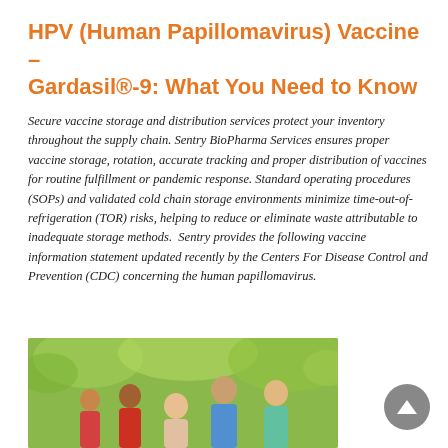HPV (Human Papillomavirus) Vaccine – Gardasil®-9: What You Need to Know
Secure vaccine storage and distribution services protect your inventory throughout the supply chain. Sentry BioPharma Services ensures proper vaccine storage, rotation, accurate tracking and proper distribution of vaccines for routine fulfillment or pandemic response. Standard operating procedures (SOPs) and validated cold chain storage environments minimize time-out-of-refrigeration (TOR) risks, helping to reduce or eliminate waste attributable to inadequate storage methods.  Sentry provides the following vaccine information statement updated recently by the Centers For Disease Control and Prevention (CDC) concerning the human papillomavirus.
[Figure (photo): Group of teenagers/young adults smiling outdoors with green trees in background]